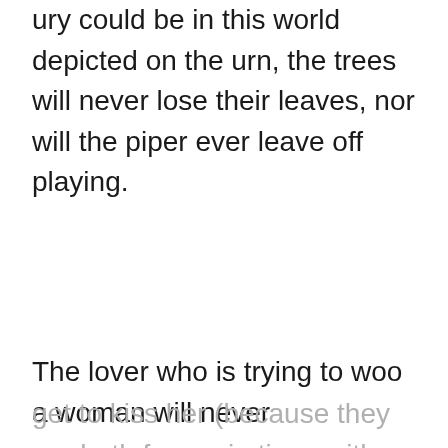ury could be in this world depicted on the urn, the trees will never lose their leaves, nor will the piper ever leave off playing.
The lover who is trying to woo a woman will never
get to kiss her (because they are both frozen in time, with him 'winning near the goal' but not quit-